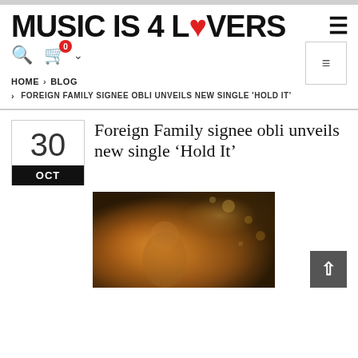MUSIC IS 4 LOVERS
HOME > BLOG
> FOREIGN FAMILY SIGNEE OBLI UNVEILS NEW SINGLE 'HOLD IT'
Foreign Family signee obli unveils new single ‘Hold It’
30 OCT
[Figure (photo): Photo of a young man in a busy, warmly lit scene with bokeh lights in background]